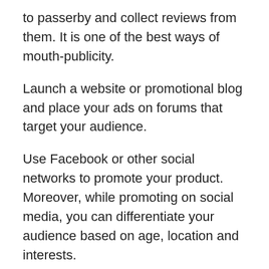to passerby and collect reviews from them. It is one of the best ways of mouth-publicity.
Launch a website or promotional blog and place your ads on forums that target your audience.
Use Facebook or other social networks to promote your product. Moreover, while promoting on social media, you can differentiate your audience based on age, location and interests.
This is Thomas J Salzano your trusted expert hairstylist, traveler, photographer and blogger, signing off now.